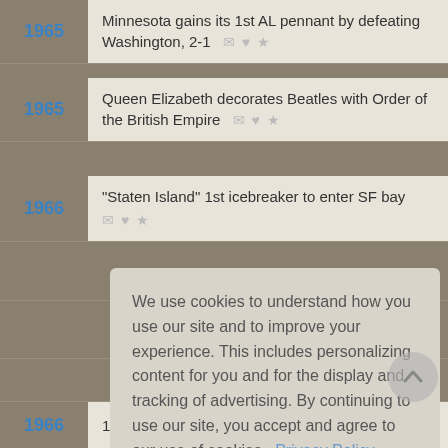1965 — Minnesota gains its 1st AL pennant by defeating Washington, 2-1
1965 — Queen Elizabeth decorates Beatles with Order of the British Empire
1966 — "Staten Island" 1st icebreaker to enter SF bay
We use cookies to understand how you use our site and to improve your experience. This includes personalizing content for you and for the display and tracking of advertising. By continuing to use our site, you accept and agree to our use of cookies. Privacy Policy
Got it!
1966 — 1.12 ERA